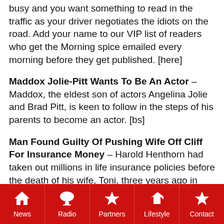busy and you want something to read in the traffic as your driver negotiates the idiots on the road. Add your name to our VIP list of readers who get the Morning spice emailed every morning before they get published. [here]
Maddox Jolie-Pitt Wants To Be An Actor – Maddox, the eldest son of actors Angelina Jolie and Brad Pitt, is keen to follow in the steps of his parents to become an actor. [bs]
Man Found Guilty Of Pushing Wife Off Cliff For Insurance Money – Harold Henthorn had taken out millions in life insurance policies before the death of his wife, Toni, three years ago in Rocky Mountain National Park. Henthorn's first wife, Lynn, died under similarly suspicious circumstances in 1995, prosecutors said. [bf]
News | Radio | Partners | Lifestyle | Contact